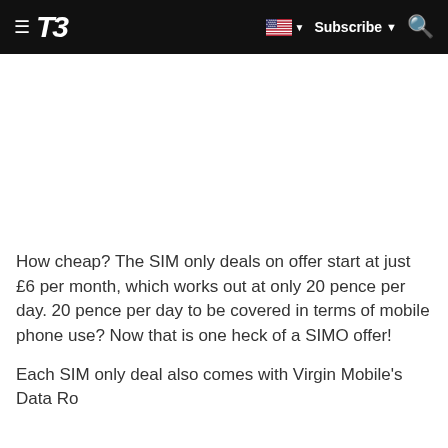T3 — Subscribe
How cheap? The SIM only deals on offer start at just £6 per month, which works out at only 20 pence per day. 20 pence per day to be covered in terms of mobile phone use? Now that is one heck of a SIMO offer!
Each SIM only deal also comes with Virgin Mobile's Data Rollover feature...